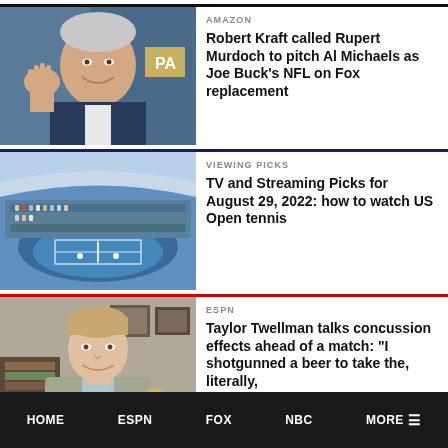[Figure (photo): News article card: Robert Kraft photo on left, Amazon category label and headline on right]
AMAZON
Robert Kraft called Rupert Murdoch to pitch Al Michaels as Joe Buck’s NFL on Fox replacement
[Figure (photo): News article card: US Open tennis stadium photo on left, Viewing Picks category label and headline on right]
VIEWING PICKS
TV and Streaming Picks for August 29, 2022: how to watch US Open tennis
[Figure (photo): News article card: Taylor Twellman photo on left, ESPN category label and headline on right]
ESPN
Taylor Twellman talks concussion effects ahead of a match: “I shotgunned a beer to take the, literally,
HOME   ESPN   FOX   NBC   MORE